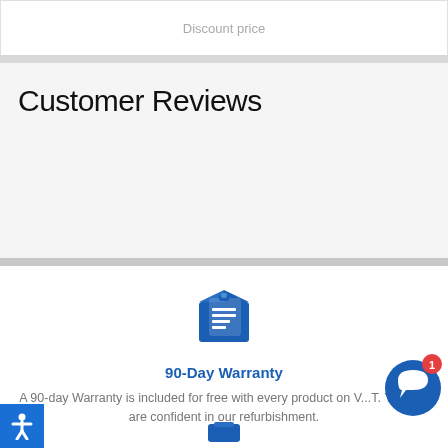Discount price
Customer Reviews
[Figure (illustration): Blue icon of a box/package with a clipboard showing a checklist, representing a 90-day warranty]
90-Day Warranty
A 90-day Warranty is included for free with every product on V...T. Yup, we are confident in our refurbishment.
[Figure (illustration): Blue circular chat bubble icon with red notification badge showing 1]
[Figure (illustration): Blue accessibility icon (person with arms out) on blue background square in bottom-left corner]
[Figure (illustration): Partial blue icon visible at the bottom center of the page]